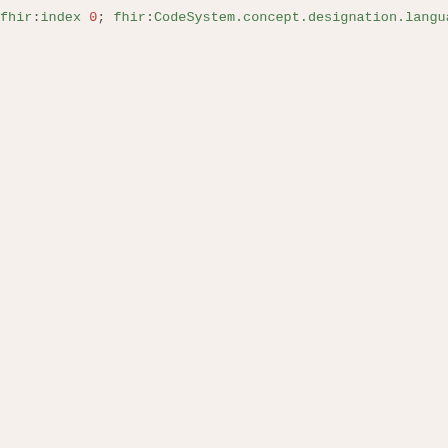FHIR code snippet showing CodeSystem concept designation and property elements in Turtle/RDF syntax